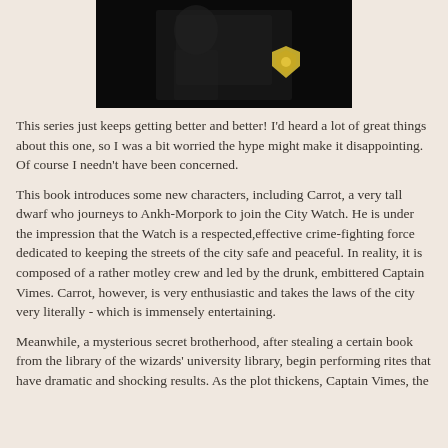[Figure (photo): Dark photograph showing what appears to be a police badge or shield in yellow/gold against a dark background, partially visible at top of page.]
This series just keeps getting better and better!  I'd heard a lot of great things about this one, so I was a bit worried the hype might make it disappointing.  Of course I needn't have been concerned.
This book introduces some new characters, including Carrot, a very tall dwarf who journeys to Ankh-Morpork to join the City Watch.  He is under the impression that the Watch is a respected,effective crime-fighting force dedicated to keeping the streets of the city safe and peaceful.  In reality, it is composed of a rather motley crew and led by the drunk, embittered Captain Vimes.  Carrot, however, is very enthusiastic and takes the laws of the city very literally - which is immensely entertaining.
Meanwhile, a mysterious secret brotherhood, after stealing a certain book from the library of the wizards' university library, begin performing rites that have dramatic and shocking results.  As the plot thickens, Captain Vimes, the